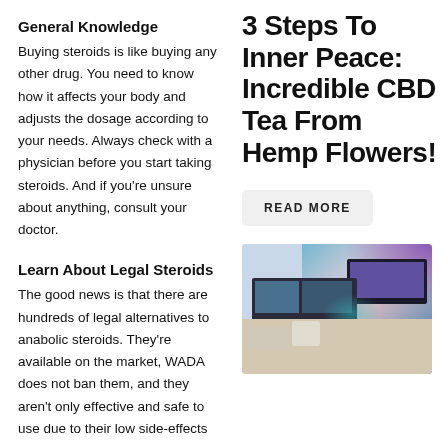General Knowledge
Buying steroids is like buying any other drug. You need to know how it affects your body and adjusts the dosage according to your needs. Always check with a physician before you start taking steroids. And if you're unsure about anything, consult your doctor.
3 Steps To Inner Peace: Incredible CBD Tea From Hemp Flowers!
Learn About Legal Steroids
The good news is that there are hundreds of legal alternatives to anabolic steroids. They're available on the market, WADA does not ban them, and they aren't only effective and safe to use due to their low side-effects
READ MORE
[Figure (photo): Gaming/office room setup with multiple monitors, a large TV on the wall with purple lighting, a desk, chair, and couch]